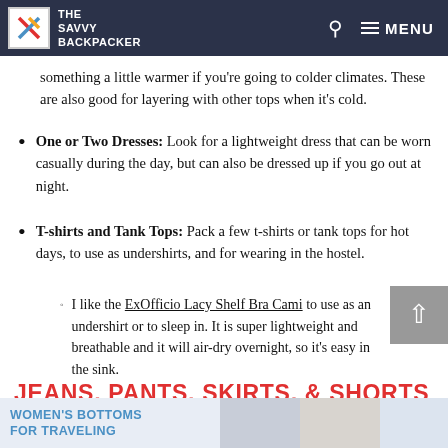THE SAVVY BACKPACKER
something a little warmer if you’re going to colder climates. These are also good for layering with other tops when it’s cold.
One or Two Dresses: Look for a lightweight dress that can be worn casually during the day, but can also be dressed up if you go out at night.
T-shirts and Tank Tops: Pack a few t-shirts or tank tops for hot days, to use as undershirts, and for wearing in the hostel.
I like the ExOfficio Lacy Shelf Bra Cami to use as an undershirt or to sleep in. It is super lightweight and breathable and it will air-dry overnight, so it’s easy in the sink.
JEANS, PANTS, SKIRTS, & SHORTS
[Figure (photo): Women's bottoms for traveling — photo strip showing jeans, skirts, and shorts]